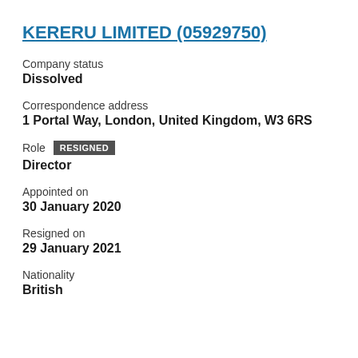KERERU LIMITED (05929750)
Company status
Dissolved
Correspondence address
1 Portal Way, London, United Kingdom, W3 6RS
Role  RESIGNED
Director
Appointed on
30 January 2020
Resigned on
29 January 2021
Nationality
British